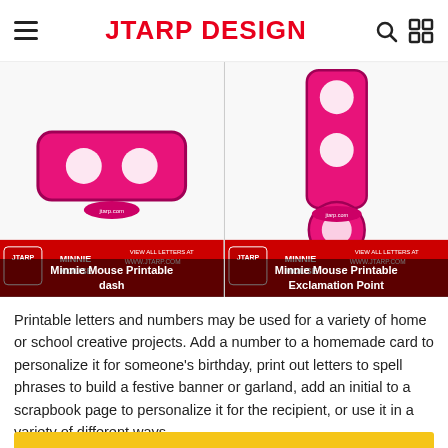JTARP DESIGN
[Figure (photo): Two Minnie Mouse printable character images: left shows a pink polka-dot dash/hyphen, right shows a pink polka-dot exclamation point, both with red banner overlays showing 'Minnie Mouse Printable dash' and 'Minnie Mouse Printable Exclamation Point' with JTARP branding]
Printable letters and numbers may be used for a variety of home or school creative projects. Add a number to a homemade card to personalize it for someone's birthday, print out letters to spell phrases to build a festive banner or garland, add an initial to a scrapbook page to personalize it for the recipient, or use it in a variety of different ways.